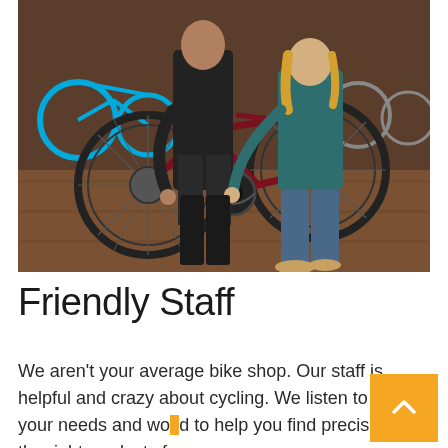[Figure (photo): Two people in a bike shop examining a dark red/maroon bicycle. One person in a black shirt and apron crouches by the rear wheel, another in a teal sweater leans over and points at the drivetrain/chainring area. Various bikes visible in the background including a bright blue one.]
Friendly Staff
We aren't your average bike shop. Our staff is helpful and crazy about cycling. We listen to your needs and work hard to help you find precisely the right products for you.